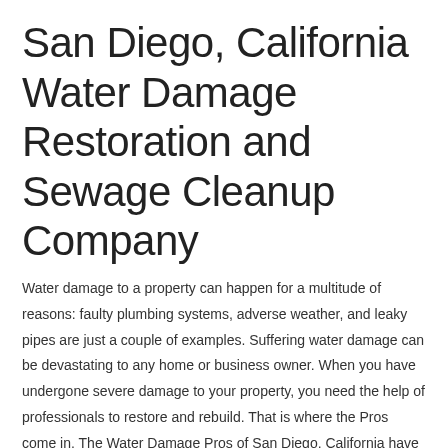San Diego, California Water Damage Restoration and Sewage Cleanup Company
Water damage to a property can happen for a multitude of reasons: faulty plumbing systems, adverse weather, and leaky pipes are just a couple of examples. Suffering water damage can be devastating to any home or business owner. When you have undergone severe damage to your property, you need the help of professionals to restore and rebuild. That is where the Pros come in. The Water Damage Pros of San Diego, California have extensive experience in the field of water damage repairs and restoration, and want to help you in your time of need. Here